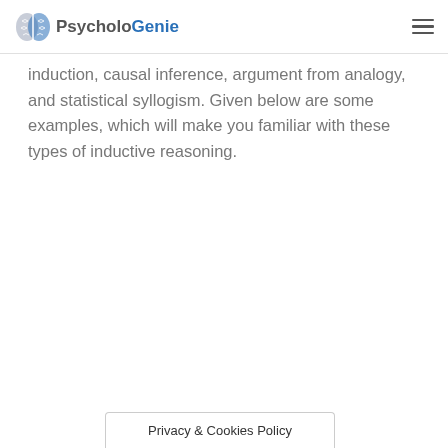PsycholoGenie
induction, causal inference, argument from analogy, and statistical syllogism. Given below are some examples, which will make you familiar with these types of inductive reasoning.
Privacy & Cookies Policy